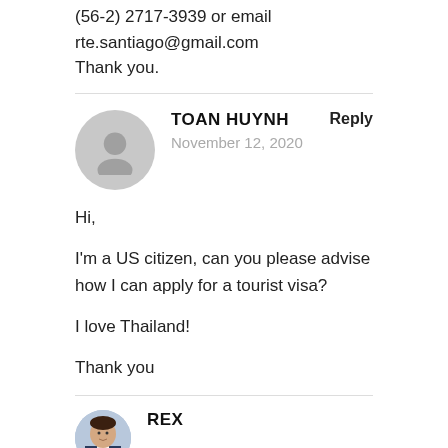(56-2) 2717-3939 or email rte.santiago@gmail.com
Thank you.
TOAN HUYNH
November 12, 2020
Reply
Hi,

I'm a US citizen, can you please advise how I can apply for a tourist visa?

I love Thailand!

Thank you
REX